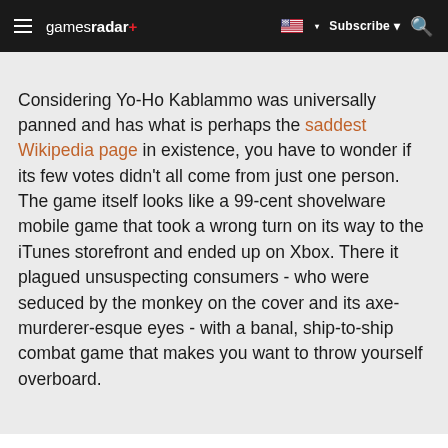gamesradar+ | Subscribe | Search
Considering Yo-Ho Kablammo was universally panned and has what is perhaps the saddest Wikipedia page in existence, you have to wonder if its few votes didn't all come from just one person. The game itself looks like a 99-cent shovelware mobile game that took a wrong turn on its way to the iTunes storefront and ended up on Xbox. There it plagued unsuspecting consumers - who were seduced by the monkey on the cover and its axe-murderer-esque eyes - with a banal, ship-to-ship combat game that makes you want to throw yourself overboard.